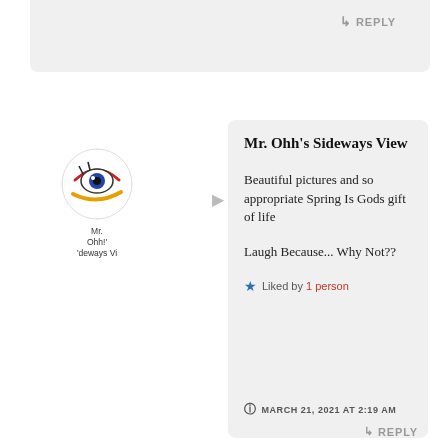↳ REPLY
[Figure (logo): Mr. Ohh's Sideways View blog avatar: stylized eye with red eyelid, blue iris, black lashes and an orange/yellow curved line below, along with text label 'Mr. Ohh's Sideways View']
Mr. Ohh's Sideways View
Beautiful pictures and so appropriate Spring Is Gods gift of life
Laugh Because... Why Not??
★ Liked by 1 person
MARCH 21, 2021 AT 2:19 AM
↳ REPLY